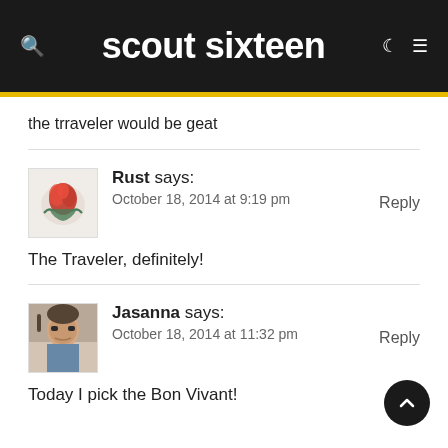scout sixteen
the trraveler would be geat
Rust says:
October 18, 2014 at 9:19 pm
The Traveler, definitely!
Jasanna says:
October 18, 2014 at 11:32 pm
Today I pick the Bon Vivant!